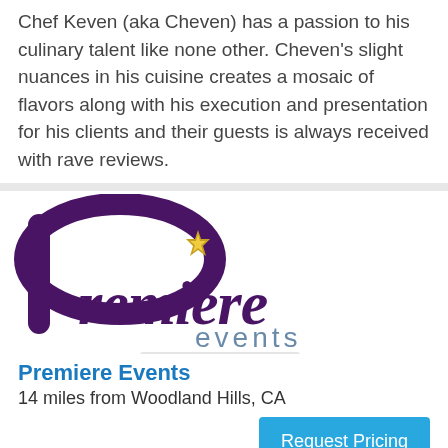Chef Keven (aka Cheven) has a passion to his culinary talent like none other. Cheven's slight nuances in his cuisine creates a mosaic of flavors along with his execution and presentation for his clients and their guests is always received with rave reviews.
[Figure (logo): Premiere Events logo with large stylized purple P and cursive 'premiere' text with 'events' in blue-grey below]
Premiere Events
14 miles from Woodland Hills, CA
Request Pricing
Our exceptional in-house catering offers food and beverage